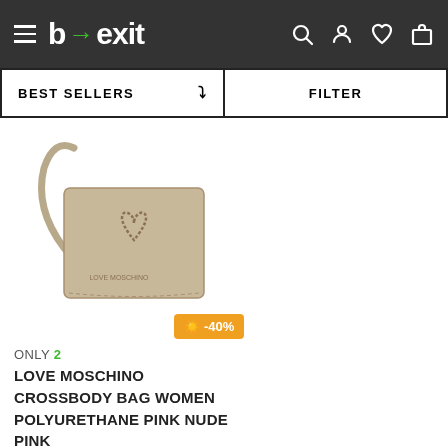b→exit — navigation header with menu, search, account, wishlist, cart icons
BEST SELLERS  FILTER
[Figure (photo): Love Moschino crossbody bag in taupe/nude pink polyurethane with embossed heart detail and shoulder strap]
☀ -40%
ONLY 2
LOVE MOSCHINO CROSSBODY BAG WOMEN POLYURETHANE PINK NUDE PINK
€111.86  €188.00
One Size